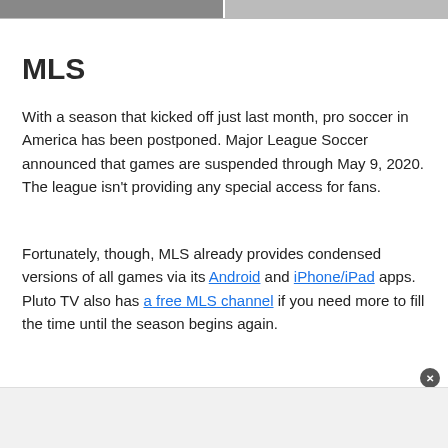[Figure (photo): Two side-by-side images at the top of the page, left appears to be a sports/crowd image, right is a lighter image]
MLS
With a season that kicked off just last month, pro soccer in America has been postponed. Major League Soccer announced that games are suspended through May 9, 2020. The league isn't providing any special access for fans.
Fortunately, though, MLS already provides condensed versions of all games via its Android and iPhone/iPad apps. Pluto TV also has a free MLS channel if you need more to fill the time until the season begins again.